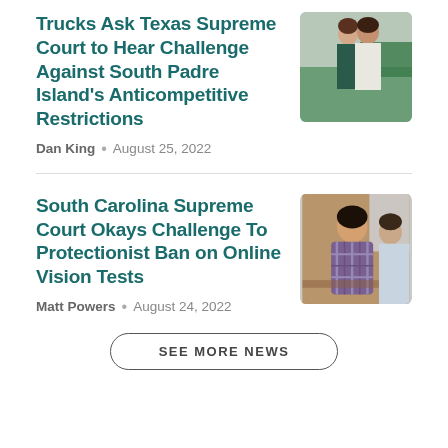Trucks Ask Texas Supreme Court to Hear Challenge Against South Padre Island's Anticompetitive Restrictions
[Figure (photo): Two people standing in front of a green food truck]
Dan King • August 25, 2022
South Carolina Supreme Court Okays Challenge To Protectionist Ban on Online Vision Tests
[Figure (photo): A man in a plaid shirt sitting at a table in an office setting]
Matt Powers • August 24, 2022
SEE MORE NEWS